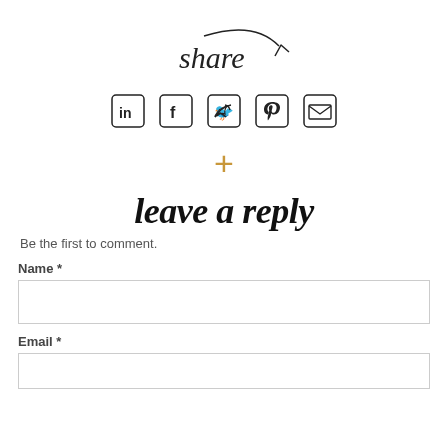[Figure (illustration): Handwritten cursive text 'share' with a curved arrow pointing right, drawn in black ink style]
[Figure (infographic): Row of five social media icons: LinkedIn, Facebook, Twitter, Pinterest, Email (envelope)]
+
leave a reply
Be the first to comment.
Name *
Email *